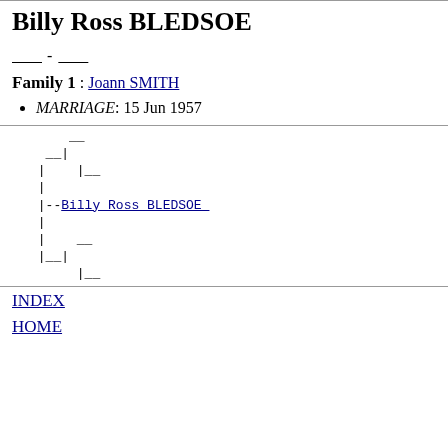Billy Ross BLEDSOE
____ - ____
Family 1 : Joann SMITH
MARRIAGE: 15 Jun 1957
[Figure (other): Family pedigree tree diagram showing ancestry lines with dashes and vertical bars, linking to Billy Ross BLEDSOE]
INDEX
HOME